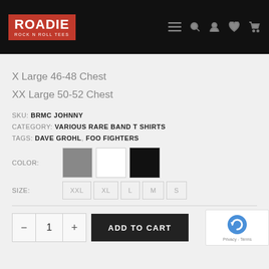[Figure (logo): Roadie Rock N Roll Tees logo - white text on red background inside black header bar]
X Large 46-48 Chest
XX Large 50-52 Chest
SKU: BRMC JOHNNY
CATEGORY: VARIOUS RARE BAND T SHIRTS
TAGS: DAVE GROHL, FOO FIGHTERS
COLOR: [gray swatch] [white swatch] [black swatch]
SIZE: XXL  XL  L  M  S
— 1 +  ADD TO CART